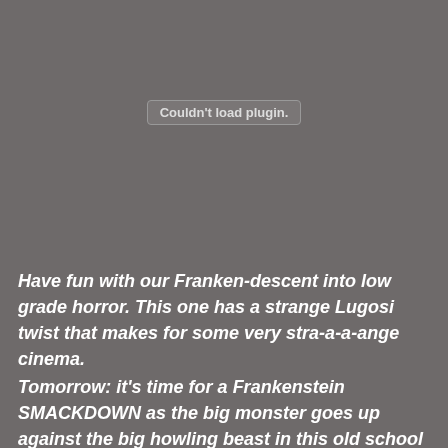[Figure (screenshot): Gray plugin placeholder area with a button reading 'Couldn't load plugin.']
Have fun with our Franken-descent into low grade horror. This one has a strange Lugosi twist that makes for some very stra-a-a-ange cinema.
Tomorrow: it's time for a Frankenstein SMACKDOWN as the big monster goes up against the big howling beast in this old school classic ...